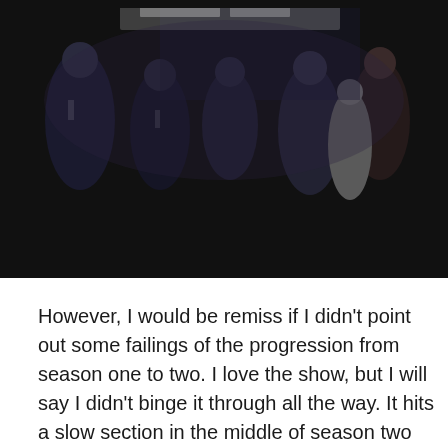[Figure (photo): A dark, crowded formal event scene with people in evening wear including tuxedos and formal dresses, dimly lit indoor setting.]
However, I would be remiss if I didn't point out some failings of the progression from season one to two. I love the show, but I will say I didn't binge it through all the way. It hits a slow section in the middle of season two when you aren't sure where the plot is going and the machinations seem to jump the shark in terms of how the grandeur of politics is portrayed. When I initially watched the show through the first season, I was impressed by how a show based on this level of political conflict could go through and so mildly portray the political drama unfolding. I loved the fact that the show didn't over-dramatize the political